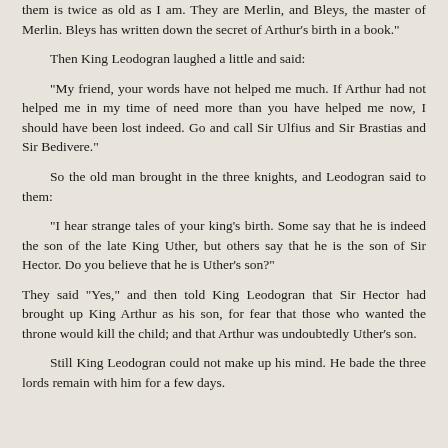them is twice as old as I am. They are Merlin, and Bleys, the master of Merlin. Bleys has written down the secret of Arthur's birth in a book."
Then King Leodogran laughed a little and said:
"My friend, your words have not helped me much. If Arthur had not helped me in my time of need more than you have helped me now, I should have been lost indeed. Go and call Sir Ulfius and Sir Brastias and Sir Bedivere."
So the old man brought in the three knights, and Leodogran said to them:
"I hear strange tales of your king's birth. Some say that he is indeed the son of the late King Uther, but others say that he is the son of Sir Hector. Do you believe that he is Uther's son?"
They said "Yes," and then told King Leodogran that Sir Hector had brought up King Arthur as his son, for fear that those who wanted the throne would kill the child; and that Arthur was undoubtedly Uther's son.
Still King Leodogran could not make up his mind. He bade the three lords remain with him for a few days.